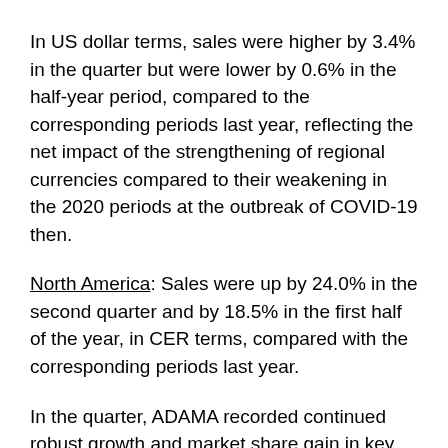In US dollar terms, sales were higher by 3.4% in the quarter but were lower by 0.6% in the half-year period, compared to the corresponding periods last year, reflecting the net impact of the strengthening of regional currencies compared to their weakening in the 2020 periods at the outbreak of COVID-19 then.
North America: Sales were up by 24.0% in the second quarter and by 18.5% in the first half of the year, in CER terms, compared with the corresponding periods last year.
In the quarter, ADAMA recorded continued robust growth and market share gain in key segments of its